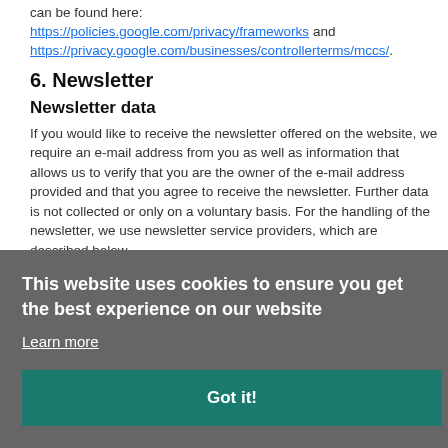can be found here:
https://policies.google.com/privacy/frameworks and https://privacy.google.com/businesses/controllerterms/mccs/.
6. Newsletter
Newsletter data
If you would like to receive the newsletter offered on the website, we require an e-mail address from you as well as information that allows us to verify that you are the owner of the e-mail address provided and that you agree to receive the newsletter. Further data is not collected or only on a voluntary basis. For the handling of the newsletter, we use newsletter service providers, which are described below.
This website uses cookies to ensure you get the best experience on our website
Learn more
Got it!
Data analysis by Rapidmail